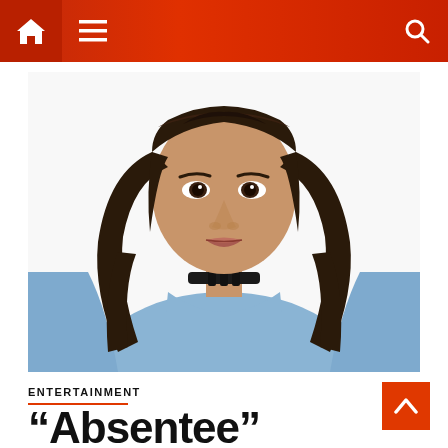Navigation bar with home icon, menu icon, and search icon
[Figure (photo): Portrait photo of a young woman with long wavy brown hair, wearing a light blue blazer and a black choker necklace, against a white background]
ENTERTAINMENT
“Absentee” Zenteve